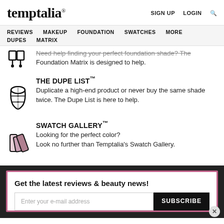temptalia® | SIGN UP  LOGIN  🔍
REVIEWS  MAKEUP  FOUNDATION  SWATCHES  MORE  DUPES  MATRIX
Need help finding your perfect foundation shade? The Foundation Matrix is designed to help.
THE DUPE LIST™
Duplicate a high-end product or never buy the same shade twice. The Dupe List is here to help.
SWATCH GALLERY™
Looking for the perfect color? Look no further than Temptalia's Swatch Gallery.
Get the latest reviews & beauty news!
Enter your e-mail address